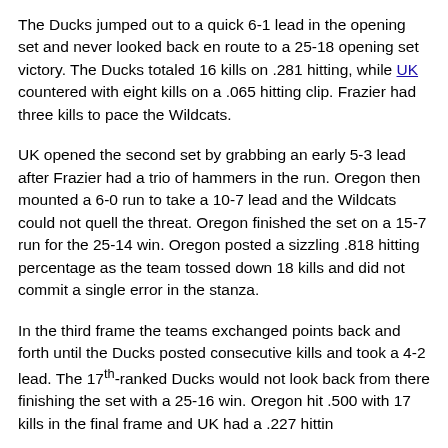The Ducks jumped out to a quick 6-1 lead in the opening set and never looked back en route to a 25-18 opening set victory. The Ducks totaled 16 kills on .281 hitting, while UK countered with eight kills on a .065 hitting clip. Frazier had three kills to pace the Wildcats.
UK opened the second set by grabbing an early 5-3 lead after Frazier had a trio of hammers in the run. Oregon then mounted a 6-0 run to take a 10-7 lead and the Wildcats could not quell the threat. Oregon finished the set on a 15-7 run for the 25-14 win. Oregon posted a sizzling .818 hitting percentage as the team tossed down 18 kills and did not commit a single error in the stanza.
In the third frame the teams exchanged points back and forth until the Ducks posted consecutive kills and took a 4-2 lead. The 17th-ranked Ducks would not look back from there finishing the set with a 25-16 win. Oregon hit .500 with 17 kills in the final frame and UK had a .227 hitting...